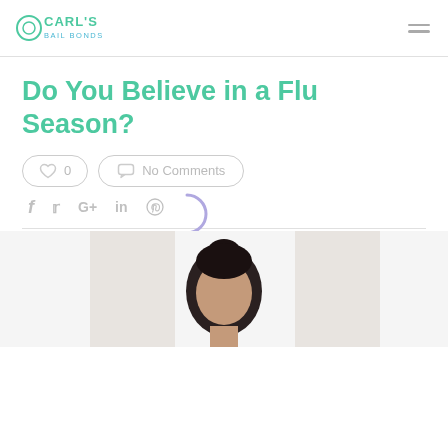Carl's Bail Bonds
Do You Believe in a Flu Season?
0  No Comments
f  Twitter  G+  in  Pinterest
[Figure (photo): Photo of a person with dark hair pulled back, visible from shoulders up, against a light background. Partially cropped at bottom of page.]